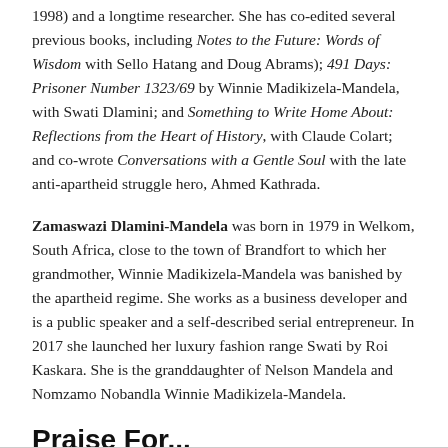1998) and a longtime researcher. She has co-edited several previous books, including Notes to the Future: Words of Wisdom with Sello Hatang and Doug Abrams); 491 Days: Prisoner Number 1323/69 by Winnie Madikizela-Mandela, with Swati Dlamini; and Something to Write Home About: Reflections from the Heart of History, with Claude Colart; and co-wrote Conversations with a Gentle Soul with the late anti-apartheid struggle hero, Ahmed Kathrada.
Zamaswazi Dlamini-Mandela was born in 1979 in Welkom, South Africa, close to the town of Brandfort to which her grandmother, Winnie Madikizela-Mandela was banished by the apartheid regime. She works as a business developer and is a public speaker and a self-described serial entrepreneur. In 2017 she launched her luxury fashion range Swati by Roi Kaskara. She is the granddaughter of Nelson Mandela and Nomzamo Nobandla Winnie Madikizela-Mandela.
Praise For...